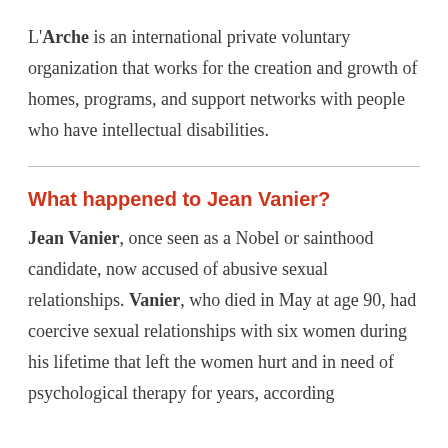L'Arche is an international private voluntary organization that works for the creation and growth of homes, programs, and support networks with people who have intellectual disabilities.
What happened to Jean Vanier?
Jean Vanier, once seen as a Nobel or sainthood candidate, now accused of abusive sexual relationships. Vanier, who died in May at age 90, had coercive sexual relationships with six women during his lifetime that left the women hurt and in need of psychological therapy for years, according